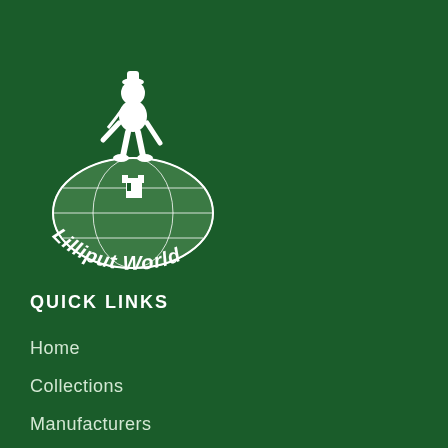[Figure (logo): Lilliput World logo: a figure of a person standing on top of a globe, with the text 'Lilliput World' arched around the bottom of the globe, all in white on a dark green background]
QUICK LINKS
Home
Collections
Manufacturers